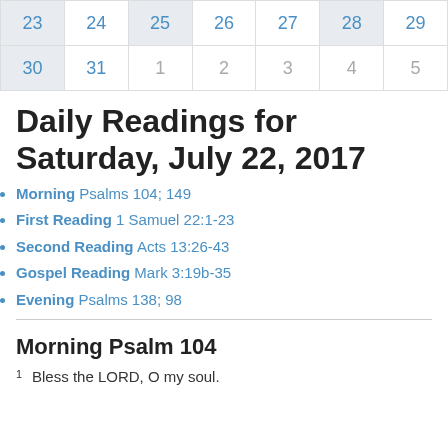[Figure (other): Calendar grid showing partial month with dates 23-29 (top row) and 30-31 then 1-5 (bottom row), dates 23-31 in blue, 1-5 in gray]
Daily Readings for Saturday, July 22, 2017
Morning Psalms 104; 149
First Reading 1 Samuel 22:1-23
Second Reading Acts 13:26-43
Gospel Reading Mark 3:19b-35
Evening Psalms 138; 98
Morning Psalm 104
1  Bless the LORD, O my soul.